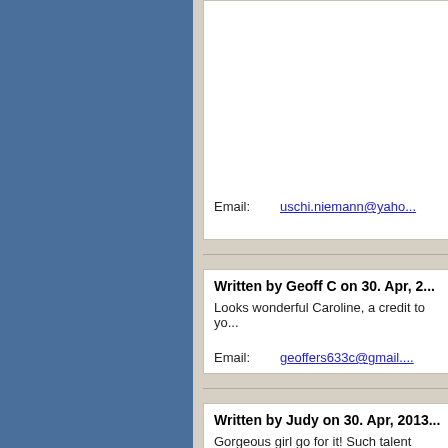Email: uschi.niemann@yaho...
Written by Geoff C on 30. Apr, 2...
Looks wonderful Caroline, a credit to yo...
Email: geoffers633c@gmail....
Written by Judy on 30. Apr, 2013...
Gorgeous girl go for it! Such talent shou...